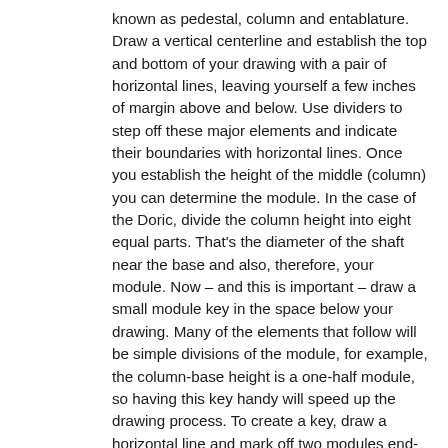known as pedestal, column and entablature. Draw a vertical centerline and establish the top and bottom of your drawing with a pair of horizontal lines, leaving yourself a few inches of margin above and below. Use dividers to step off these major elements and indicate their boundaries with horizontal lines. Once you establish the height of the middle (column) you can determine the module. In the case of the Doric, divide the column height into eight equal parts. That's the diameter of the shaft near the base and also, therefore, your module. Now – and this is important – draw a small module key in the space below your drawing. Many of the elements that follow will be simple divisions of the module, for example, the column-base height is a one-half module, so having this key handy will speed up the drawing process. To create a key, draw a horizontal line and mark off two modules end-to-end using vertical hash marks to highlight them. Then use your dividers and, through trial and error, step off one module into halves, quarters and eighths. Then step off the second module into thirds, sixths and 12ths.